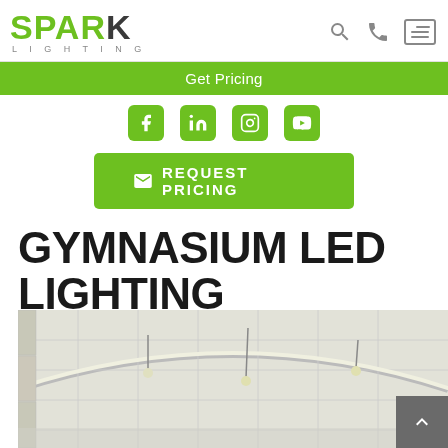SPARK LIGHTING
Get Pricing
[Figure (other): Social media icons row: Facebook, LinkedIn, Instagram, YouTube]
REQUEST PRICING
GYMNASIUM LED LIGHTING
[Figure (photo): Interior photo of a gymnasium ceiling with LED lighting strips and pendant lights, white arched roof structure]